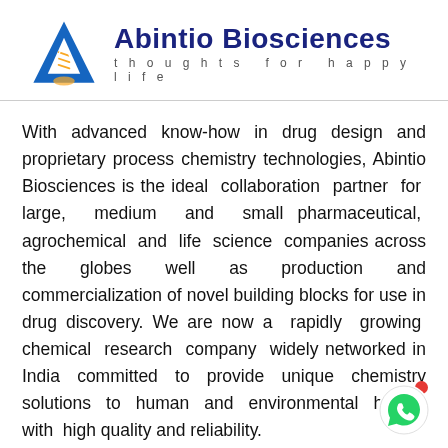[Figure (logo): Abintio Biosciences logo with a triangular A shape in blue containing a DNA helix motif, orange accent at base, and company name in dark blue bold text with tagline 'thoughts for happy life' in grey spaced letters]
With advanced know-how in drug design and proprietary process chemistry technologies, Abintio Biosciences is the ideal collaboration partner for large, medium and small pharmaceutical, agrochemical and life science companies across the globes well as production and commercialization of novel building blocks for use in drug discovery. We are now a rapidly growing chemical research company widely networked in India committed to provide unique chemistry solutions to human and environmental health with high quality and reliability.
READ MORE